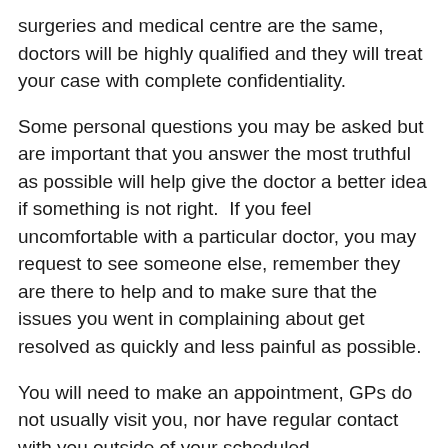surgeries and medical centre are the same, doctors will be highly qualified and they will treat your case with complete confidentiality.
Some personal questions you may be asked but are important that you answer the most truthful as possible will help give the doctor a better idea if something is not right.  If you feel uncomfortable with a particular doctor, you may request to see someone else, remember they are there to help and to make sure that the issues you went in complaining about get resolved as quickly and less painful as possible.
You will need to make an appointment, GPs do not usually visit you, nor have regular contact with you outside of your scheduled appointments, unless it is an emergency situation.
The cost of visiting a doctor will usually be partly covered by OHSC, however you may have to pay the fee at the time of you doctor's appointment and later seek reimbursement